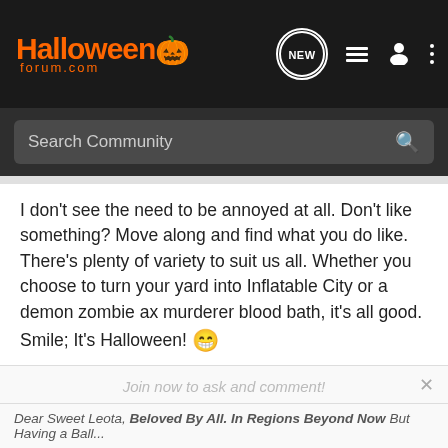HalloweenForum.com
Search Community
I don't see the need to be annoyed at all. Don't like something? Move along and find what you do like. There's plenty of variety to suit us all. Whether you choose to turn your yard into Inflatable City or a demon zombie ax murderer blood bath, it's all good.
Smile; It's Halloween! 😁
Join now to ask and comment!
Dear Sweet Leota, Beloved By All. In Regions Beyond Now But Having a Ball...
Continue with Facebook
a_granger, Morgue Momma, zero and 13 others
Reply   Quote
Continue with Google
or sign up with email